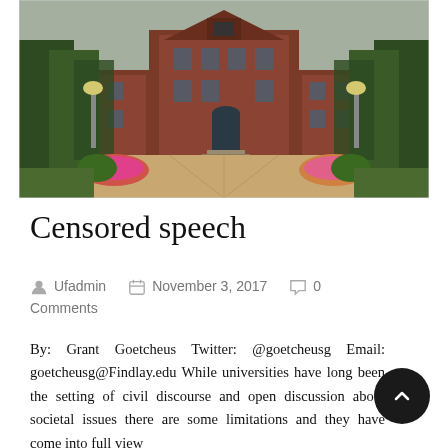[Figure (photo): University of Findlay main building — a large red-brick multi-story building with trees on either side, pink flower beds along a paved walkway leading to the entrance, overcast sky.]
Censored speech
Ufadmin   November 3, 2017   0 Comments
By: Grant Goetcheus Twitter: @goetcheusg Email: goetcheusg@Findlay.edu While universities have long been the setting of civil discourse and open discussion about societal issues there are some limitations and they have come into full view